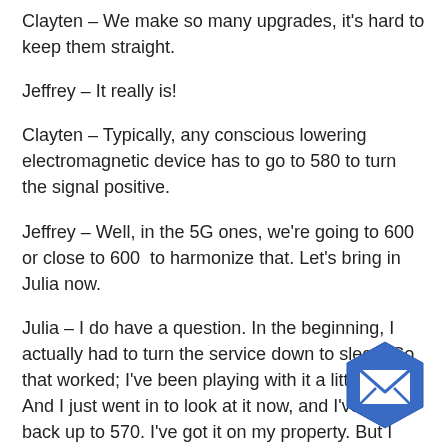Clayten – We make so many upgrades, it's hard to keep them straight.
Jeffrey – It really is!
Clayten – Typically, any conscious lowering electromagnetic device has to go to 580 to turn the signal positive.
Jeffrey – Well, in the 5G ones, we're going to 600 or close to 600  to harmonize that. Let's bring in Julia now.
Julia – I do have a question. In the beginning, I actually had to turn the service down to sleep. So that worked; I've been playing with it a little bit. And I just went in to look at it now, and I've got it back up to 570. I've got it on my property. But I thought I might take advantage of the mobile, although I'm in Vancouver, so I'm not very mobile at the moment. And I kind of use this to test to go outside of this bubble, just to see how I feel
[Figure (illustration): Blue hexagonal mail/envelope icon in the bottom right corner]